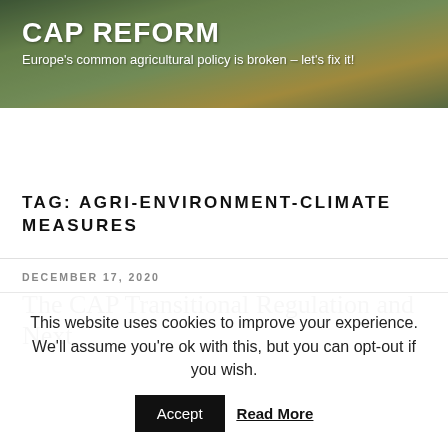CAP REFORM
Europe's common agricultural policy is broken – let's fix it!
≡ Menu
TAG: AGRI-ENVIRONMENT-CLIMATE MEASURES
DECEMBER 17, 2020
The CAP Transitional Regulation and Next
This website uses cookies to improve your experience. We'll assume you're ok with this, but you can opt-out if you wish.
Accept   Read More